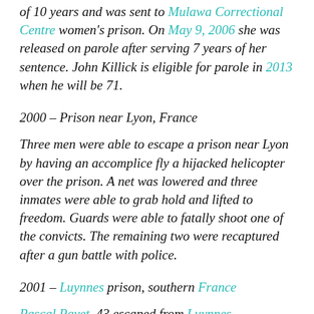of 10 years and was sent to Mulawa Correctional Centre women's prison. On May 9, 2006 she was released on parole after serving 7 years of her sentence. John Killick is eligible for parole in 2013 when he will be 71.
2000 – Prison near Lyon, France
Three men were able to escape a prison near Lyon by having an accomplice fly a hijacked helicopter over the prison. A net was lowered and three inmates were able to grab hold and lifted to freedom. Guards were able to fatally shoot one of the convicts. The remaining two were recaptured after a gun battle with police.
2001 – Luynnes prison, southern France
Pascal Payet, 43 escaped from Luynnes